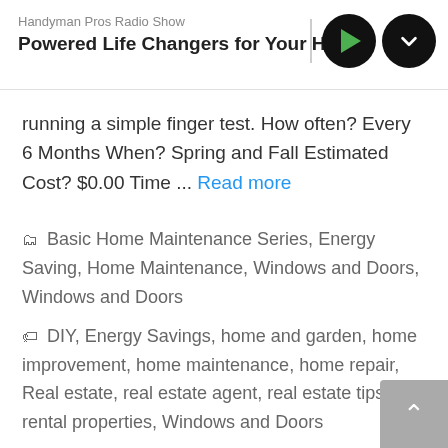Handyman Pros Radio Show
Powered Life Changers for Your Home
running a simple finger test. How often? Every 6 Months When? Spring and Fall Estimated Cost? $0.00 Time ... Read more
📁 Basic Home Maintenance Series, Energy Saving, Home Maintenance, Windows and Doors, Windows and Doors
🏷 DIY, Energy Savings, home and garden, home improvement, home maintenance, home repair, Real estate, real estate agent, real estate tips, rental properties, Windows and Doors